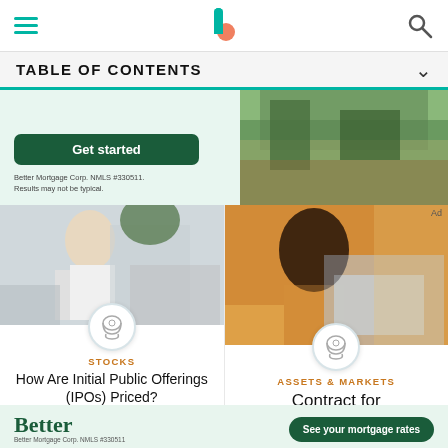TABLE OF CONTENTS
[Figure (photo): Person relaxing outdoors in a garden setting]
Get started
Better Mortgage Corp. NMLS #330511. Results may not be typical.
[Figure (photo): Woman sitting at desk with laptop and plants in background]
STOCKS
How Are Initial Public Offerings (IPOs) Priced?
[Figure (photo): Woman in yellow sweater working on laptop at cafe]
ASSETS & MARKETS
Contract for
Ad
[Figure (illustration): Better mortgage advertisement banner with See your mortgage rates button]
Better Mortgage Corp. NMLS #330511